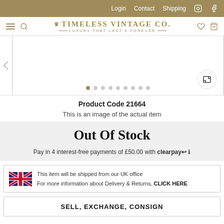Login  Contact  Shipping
[Figure (logo): Timeless Vintage Co. logo with crown icon and tagline LUXURY THAT LAST'S FOREVER]
[Figure (photo): Product image carousel showing actual item, with navigation dots and expand button. 9 dots shown, first dot active.]
Product Code 21664
This is an image of the actual item
Out Of Stock
Pay in 4 interest-free payments of £50.00 with clearpay
This item will be shipped from our UK office
For more information about Delivery & Returns, CLICK HERE
SELL, EXCHANGE, CONSIGN